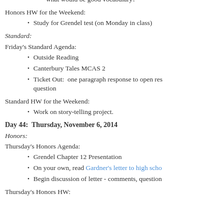what would be good vocabulary?
Honors HW for the Weekend:
Study for Grendel test (on Monday in class)
Standard:
Friday's Standard Agenda:
Outside Reading
Canterbury Tales MCAS 2
Ticket Out:  one paragraph response to open response question
Standard HW for the Weekend:
Work on story-telling project.
Day 44:  Thursday, November 6, 2014
Honors:
Thursday's Honors Agenda:
Grendel Chapter 12 Presentation
On your own, read Gardner's letter to high school
Begin discussion of letter - comments, questions
Thursday's Honors HW: